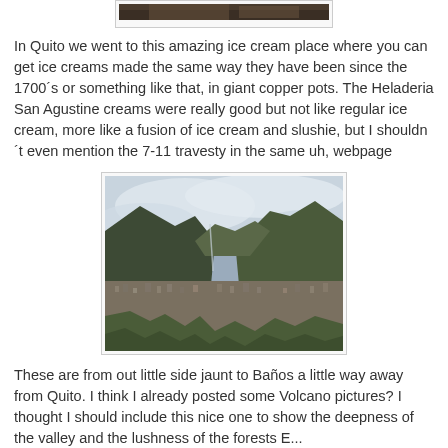[Figure (photo): Partial view of top of page showing bottom edge of a photo (dark brownish image, likely ice cream or copper pot)]
In Quito we went to this amazing ice cream place where you can get ice creams made the same way they have been since the 1700´s or something like that, in giant copper pots. The Heladeria San Agustine creams were really good but not like regular ice cream, more like a fusion of ice cream and slushie, but I shouldn´t even mention the 7-11 travesty in the same uh, webpage
[Figure (photo): Aerial landscape photo of Baños, Ecuador, showing a town nestled in a valley surrounded by mountains with clouds overhead]
These are from out little side jaunt to Baños a little way away from Quito. I think I already posted some Volcano pictures? I thought I should include this nice one to show the deepness of the valley and the lushness of the forests E...